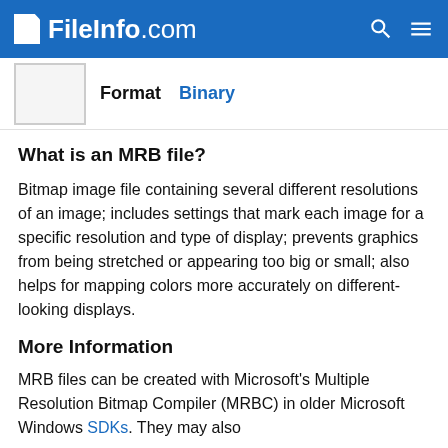FileInfo.com
Format   Binary
What is an MRB file?
Bitmap image file containing several different resolutions of an image; includes settings that mark each image for a specific resolution and type of display; prevents graphics from being stretched or appearing too big or small; also helps for mapping colors more accurately on different-looking displays.
More Information
MRB files can be created with Microsoft's Multiple Resolution Bitmap Compiler (MRBC) in older Microsoft Windows SDKs. They may also